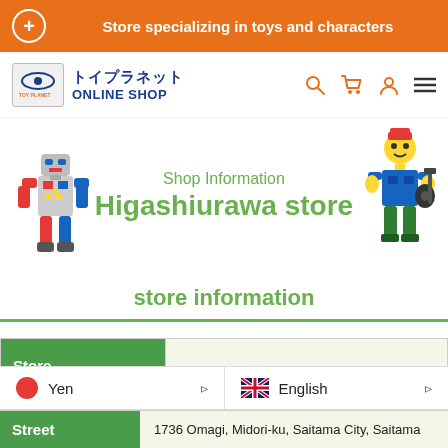Store specializing in toys and characters
[Figure (logo): Toy Planet Online Shop logo with Japanese text トイプラネット and robot planet icon]
[Figure (illustration): Robot toy figure on the left and LEGO minifigure on the right flanking the shop information heading]
Shop Information
Higashiurawa store
store information
| Field | Value |
| --- | --- |
| Store name | Higashiurawa store |
| TEL | 048-764-9945 |
| Street | 1736 Omagi, Midori-ku, Saitama City, Saitama |
Yen
English